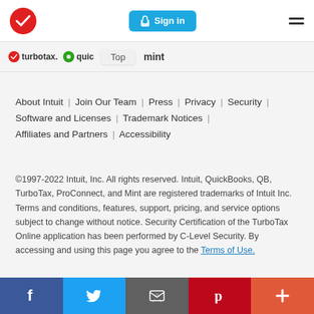[Figure (logo): TurboTax red circle checkmark logo in header]
[Figure (screenshot): Sign in button (blue rounded rectangle with lock icon) and hamburger menu in header]
[Figure (logo): Brand navigation bar showing turbotax, quickbooks, mint logos with Top tooltip]
About Intuit | Join Our Team | Press | Privacy | Security | Software and Licenses | Trademark Notices | Affiliates and Partners | Accessibility
©1997-2022 Intuit, Inc. All rights reserved. Intuit, QuickBooks, QB, TurboTax, ProConnect, and Mint are registered trademarks of Intuit Inc. Terms and conditions, features, support, pricing, and service options subject to change without notice. Security Certification of the TurboTax Online application has been performed by C-Level Security. By accessing and using this page you agree to the Terms of Use.
[Figure (infographic): Social share bar at bottom: Facebook (blue), Twitter (light blue), Email (dark gray), Pinterest (red), Plus/More (orange-red)]